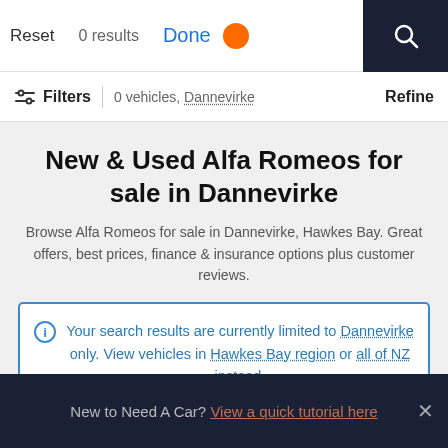Reset  0 results  Done
Filters | 0 vehicles, Dannevirke  Refine
New & Used Alfa Romeos for sale in Dannevirke
Browse Alfa Romeos for sale in Dannevirke, Hawkes Bay. Great offers, best prices, finance & insurance options plus customer reviews.
Your search results are currently limited to Dannevirke only. View vehicles in Hawkes Bay region or all of NZ instead.
New to Need A Car? View a quick tutorial here